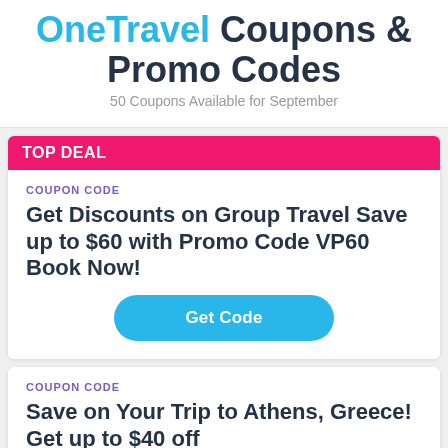OneTravel Coupons & Promo Codes
50 Coupons Available for September
TOP DEAL
COUPON CODE
Get Discounts on Group Travel Save up to $60 with Promo Code VP60 Book Now!
Get Code
COUPON CODE
Save on Your Trip to Athens, Greece! Get up to $40 off